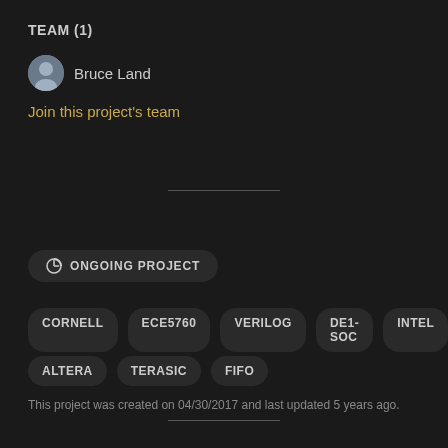TEAM (1)
Bruce Land
Join this project's team
ONGOING PROJECT
CORNELL
ECE5760
VERILOG
DE1-SOC
INTEL
ALTERA
TERASIC
FIFO
This project was created on 04/30/2017 and last updated 5 years ago.